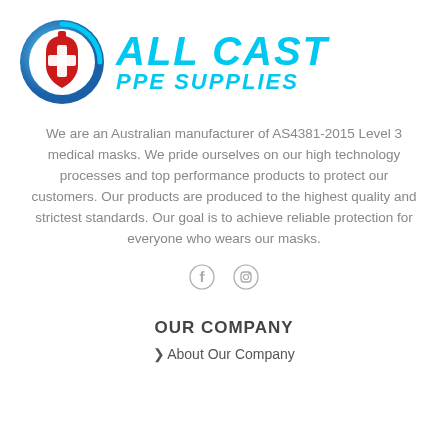[Figure (logo): All Cast PPE Supplies logo — circular icon with blue gradient ring and red medical cross shield, next to bold italic cyan text reading ALL CAST PPE SUPPLIES]
We are an Australian manufacturer of AS4381-2015 Level 3 medical masks. We pride ourselves on our high technology processes and top performance products to protect our customers. Our products are produced to the highest quality and strictest standards. Our goal is to achieve reliable protection for everyone who wears our masks.
[Figure (other): Facebook and Instagram social media icons]
OUR COMPANY
About Our Company